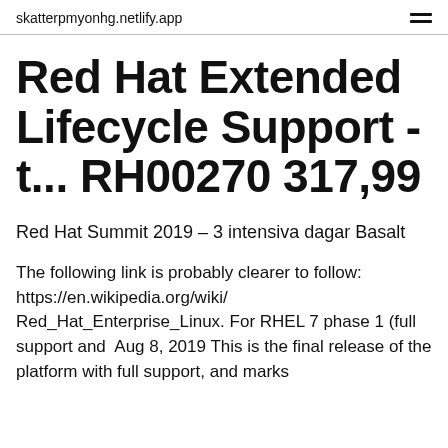skatterpmyonhg.netlify.app
Red Hat Extended Lifecycle Support - t... RH00270 317,99
Red Hat Summit 2019 – 3 intensiva dagar Basalt
The following link is probably clearer to follow: https://en.wikipedia.org/wiki/Red_Hat_Enterprise_Linux. For RHEL 7 phase 1 (full support and  Aug 8, 2019 This is the final release of the platform with full support, and marks